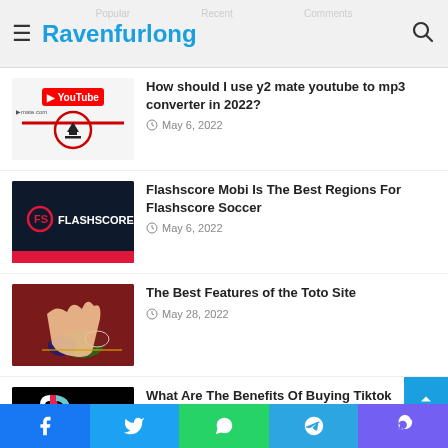Ravenfurlong
How should I use y2 mate youtube to mp3 converter in 2022? — May 6, 2022
Flashscore Mobi Is The Best Regions For Flashscore Soccer — May 6, 2022
The Best Features of the Toto Site — May 28, 2022
What Are The Benefits Of Buying Tiktok followers — May 21, 2022
Facebook | Twitter | WhatsApp | Telegram | Viber